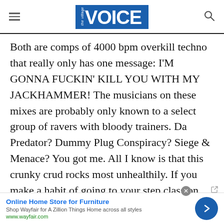the village VOICE
Both are comps of 4000 bpm overkill techno that really only has one message: I'M GONNA FUCKIN' KILL YOU WITH MY JACKHAMMER! The musicians on these mixes are probably only known to a select group of ravers with bloody trainers. Da Predator? Dummy Plug Conspiracy? Siege & Menace? You got me. All I know is that this crunky crud rocks most unhealthily. If you make a habit of going to your step class on ketamine, then this is Walkman action you could groove to. For the rest of
[Figure (other): Advertisement banner: Online Home Store for Furniture - Shop Wayfair for A Zillion Things Home across all styles - www.wayfair.com - with a blue circular arrow button]